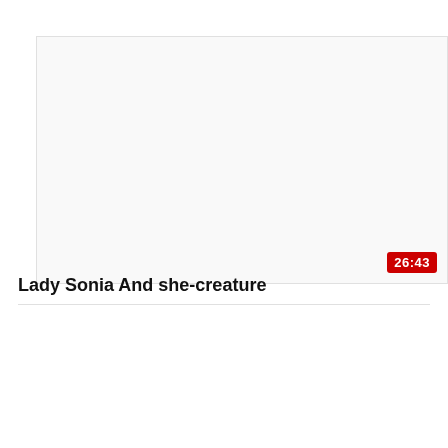[Figure (screenshot): Video thumbnail placeholder — white/light grey rectangle with a red duration badge showing 26:43 in the bottom-right corner.]
Lady Sonia And she-creature